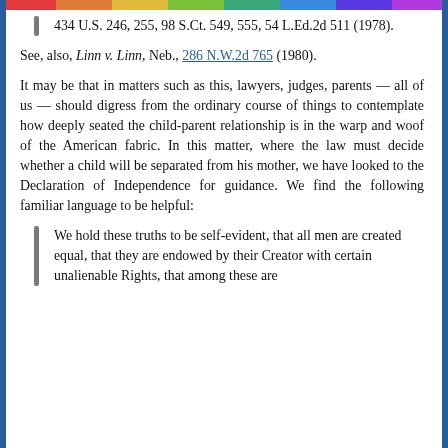434 U.S. 246, 255, 98 S.Ct. 549, 555, 54 L.Ed.2d 511 (1978).
See, also, Linn v. Linn, Neb., 286 N.W.2d 765 (1980).
It may be that in matters such as this, lawyers, judges, parents — all of us — should digress from the ordinary course of things to contemplate how deeply seated the child-parent relationship is in the warp and woof of the American fabric. In this matter, where the law must decide whether a child will be separated from his mother, we have looked to the Declaration of Independence for guidance. We find the following familiar language to be helpful:
We hold these truths to be self-evident, that all men are created equal, that they are endowed by their Creator with certain unalienable Rights, that among these are